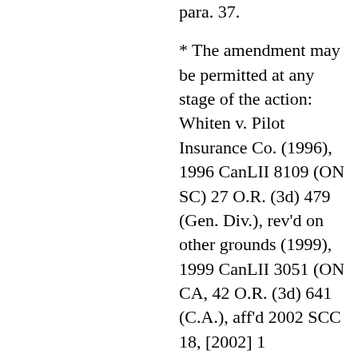para. 37.
* The amendment may be permitted at any stage of the action: Whiten v. Pilot Insurance Co. (1996), 1996 CanLII 8109 (ON SC) 27 O.R. (3d) 479 (Gen. Div.), rev'd on other grounds (1999), 1999 CanLII 3051 (ON CA, 42 O.R. (3d) 641 (C.A.), aff'd 2002 SCC 18, [2002] 1